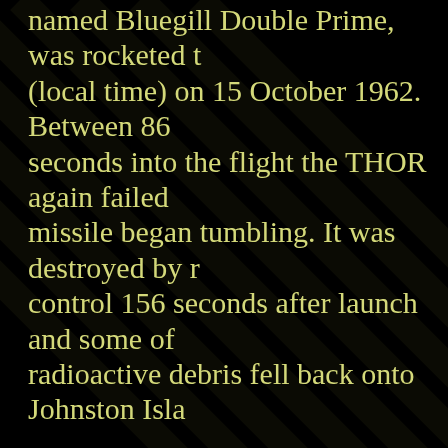named Bluegill Double Prime, was rocketed (local time) on 15 October 1962. Between 86 seconds into the flight the THOR again failed missile began tumbling. It was destroyed by r control 156 seconds after launch and some of radioactive debris fell back onto Johnston Isla
Bluegill Triple Prime, on 26 Oct '62, was the finally successful launch of this high altitude the W-50 warhead in a Mk 4 RV. The 1000 kt detonated at an altitude of 31 miles, approxim miles south-southwest of Johnston Island. Thi occurred low enough in the atmosphere for fi formation to occur, and observers saw a brilli flash and noticeable heat pulse on bare skin. A distorted bright moon-like sphere was seen, y first, then gradually showing green, pink, and